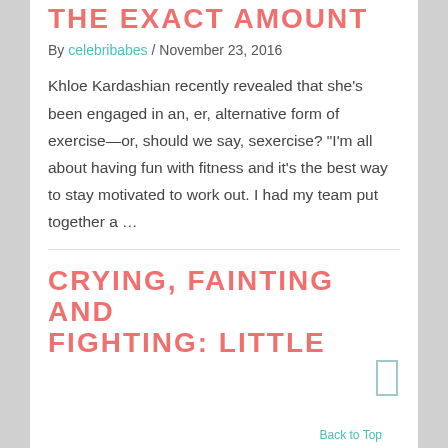THE EXACT AMOUNT
By celebribabes / November 23, 2016
Khloe Kardashian recently revealed that she's been engaged in an, er, alternative form of exercise—or, should we say, sexercise? "I'm all about having fun with fitness and it's the best way to stay motivated to work out. I had my team put together a …
CRYING, FAINTING AND FIGHTING: LITTLE